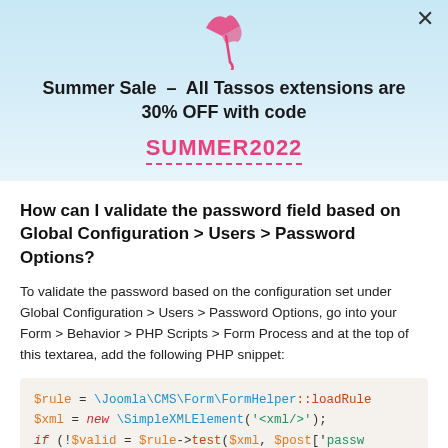[Figure (illustration): Pink beach umbrella / parasol icon]
Summer Sale – All Tassos extensions are 30% OFF with code
SUMMER2022
How can I validate the password field based on Global Configuration > Users > Password Options?
To validate the password based on the configuration set under Global Configuration > Users > Password Options, go into your Form > Behavior > PHP Scripts > Form Process and at the top of this textarea, add the following PHP snippet:
$rule = \Joomla\CMS\Form\FormHelper::loadRule
$xml = new \SimpleXMLElement('<xml/>');
if (!$valid = $rule->test($xml, $post['passw